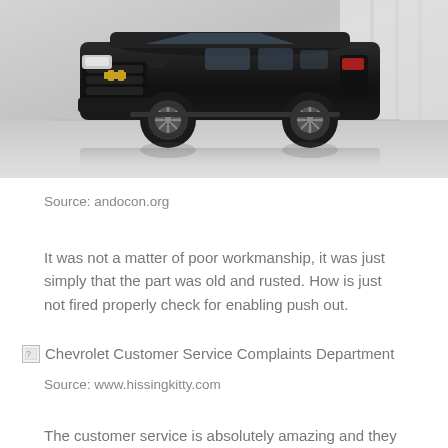[Figure (photo): Black Chevrolet SUV (Suburban) photographed in a studio setting against a white background with reflection on floor]
Source: andocon.org
It was not a matter of poor workmanship, it was just simply that the part was old and rusted. How is just not fired properly check for enabling push out.
[Figure (photo): Broken image placeholder for Chevrolet Customer Service Complaints Department]
Source: www.hissingkitty.com
The customer service is absolutely amazing and they bend